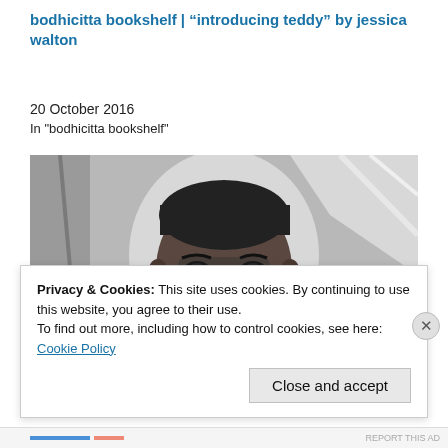bodhicitta bookshelf | “introducing teddy” by jessica walton
20 October 2016
In "bodhicitta bookshelf"
[Figure (photo): Black and white close-up photograph of a young man wearing a hoodie, looking directly at the camera]
Privacy & Cookies: This site uses cookies. By continuing to use this website, you agree to their use.
To find out more, including how to control cookies, see here:
Cookie Policy
Close and accept